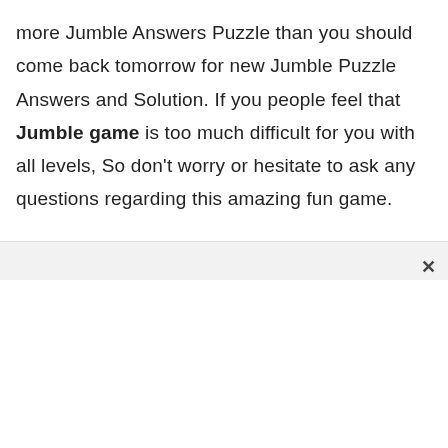more Jumble Answers Puzzle than you should come back tomorrow for new Jumble Puzzle Answers and Solution. If you people feel that Jumble game is too much difficult for you with all levels, So don't worry or hesitate to ask any questions regarding this amazing fun game.